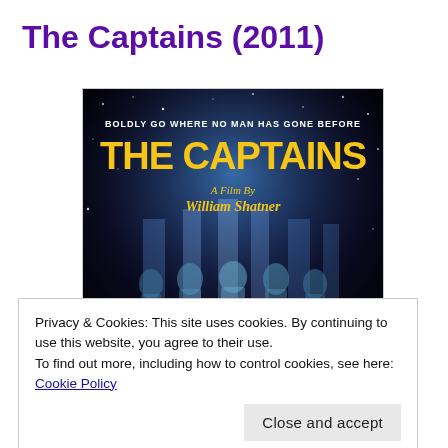The Captains (2011)
[Figure (photo): Movie poster for 'The Captains' (2011), a film by William Shatner. Dark space background with blue light beams and silhouettes of Star Trek captains. Text reads 'BOLDLY GO WHERE NO MAN HAS GONE BEFORE', 'THE CAPTAINS', 'A Film By William Shatner' in yellow lettering.]
Privacy & Cookies: This site uses cookies. By continuing to use this website, you agree to their use.
To find out more, including how to control cookies, see here: Cookie Policy
Close and accept
[Figure (photo): Bottom strip of the movie poster showing cast names: CHRIS PINE  PATRICK STEWART  AVERY BROOKS  KATE MULGREW  SCOTT BAKULA & WILLIAM SHATNER]